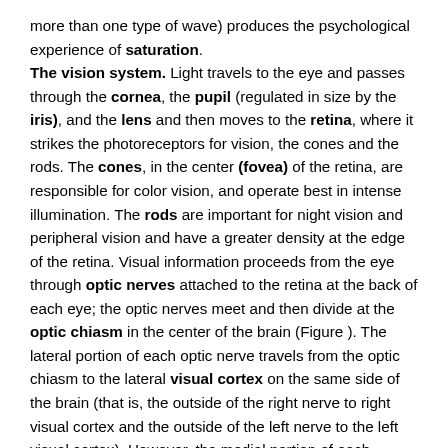more than one type of wave) produces the psychological experience of saturation. The vision system. Light travels to the eye and passes through the cornea, the pupil (regulated in size by the iris), and the lens and then moves to the retina, where it strikes the photoreceptors for vision, the cones and the rods. The cones, in the center (fovea) of the retina, are responsible for color vision, and operate best in intense illumination. The rods are important for night vision and peripheral vision and have a greater density at the edge of the retina. Visual information proceeds from the eye through optic nerves attached to the retina at the back of each eye; the optic nerves meet and then divide at the optic chiasm in the center of the brain (Figure ). The lateral portion of each optic nerve travels from the optic chiasm to the lateral visual cortex on the same side of the brain (that is, the outside of the right nerve to right visual cortex and the outside of the left nerve to the left visual cortex). However, the medial portion of each